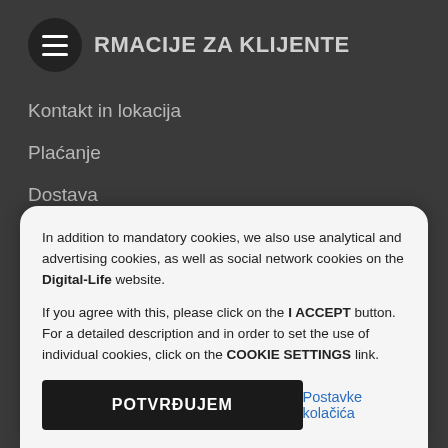INFORMACIJE ZA KLIJENTE
Kontakt in lokacija
Plaćanje
Dostava
Izjava o privatnosti
Opći uvjeti poslovanja
In addition to mandatory cookies, we also use analytical and advertising cookies, as well as social network cookies on the Digital-Life website.

If you agree with this, please click on the I ACCEPT button. For a detailed description and in order to set the use of individual cookies, click on the COOKIE SETTINGS link.
POTVRĐUJEM
Postavke kolačića